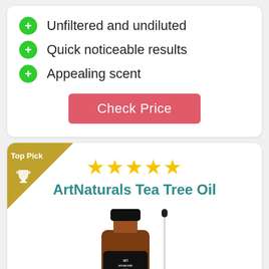Unfiltered and undiluted
Quick noticeable results
Appealing scent
Check Price
Top Pick
[Figure (other): Five gold star rating]
ArtNaturals Tea Tree Oil
[Figure (photo): ArtNaturals Tea Tree Essential Oil bottle with dropper]